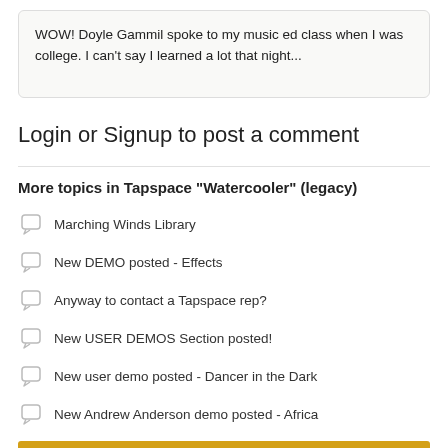WOW! Doyle Gammil spoke to my music ed class when I was college. I can't say I learned a lot that night...
Login or Signup to post a comment
More topics in Tapspace "Watercooler" (legacy)
Marching Winds Library
New DEMO posted - Effects
Anyway to contact a Tapspace rep?
New USER DEMOS Section posted!
New user demo posted - Dancer in the Dark
New Andrew Anderson demo posted - Africa
WireTap Pro version 1.1.1 released
Sibelius 4 announced
New Commercial Demo
DEMO: Orchestral Commercial